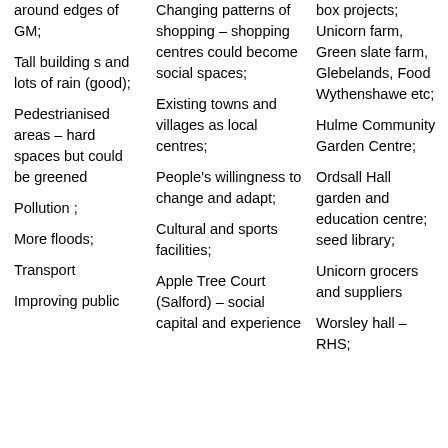around edges of GM;
Tall building s and lots of rain (good);
Pedestrianised areas – hard spaces but could be greened
Pollution ;
More floods;
Transport
Improving public
Changing patterns of shopping – shopping centres could become social spaces;
Existing towns and villages as local centres;
People's willingness to change and adapt;
Cultural and sports facilities;
Apple Tree Court (Salford) – social capital and experience
box projects; Unicorn farm, Green slate farm, Glebelands, Food Wythenshawe etc;
Hulme Community Garden Centre;
Ordsall Hall garden and education centre; seed library;
Unicorn grocers and suppliers
Worsley hall – RHS;